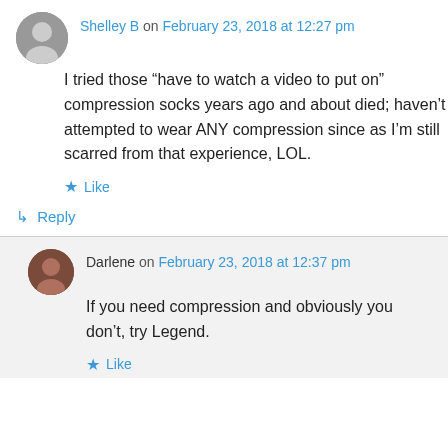Shelley B on February 23, 2018 at 12:27 pm
I tried those “have to watch a video to put on” compression socks years ago and about died; haven’t attempted to wear ANY compression since as I’m still scarred from that experience, LOL.
Like
Reply
Darlene on February 23, 2018 at 12:37 pm
If you need compression and obviously you don’t, try Legend.
Like